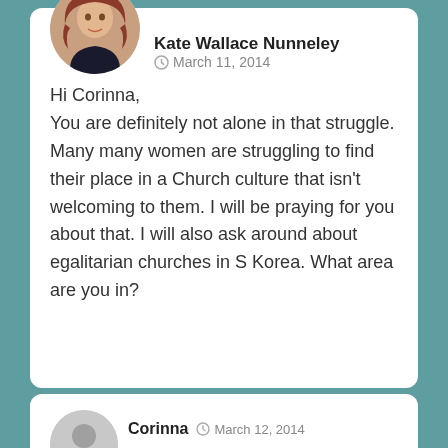[Figure (photo): Circular profile photo of Kate Wallace Nunneley, a woman with long reddish-brown hair]
Kate Wallace Nunneley  March 11, 2014
Hi Corinna,
You are definitely not alone in that struggle. Many many women are struggling to find their place in a Church culture that isn't welcoming to them. I will be praying for you about that. I will also ask around about egalitarian churches in S Korea. What area are you in?
[Figure (illustration): Generic gray circular avatar placeholder for Corinna]
Corinna  March 12, 2014